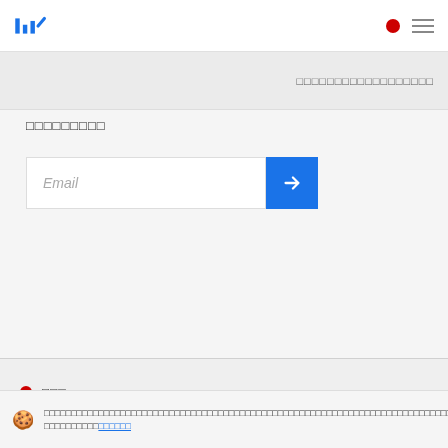lh/! [logo] [red dot] [hamburger menu]
□□□□□□□□□□□□□□□□□□
□□□□□□□□□
[Figure (screenshot): Email input field with placeholder text 'Email' and a blue arrow submit button]
□□□
🍪 □□□□□□□□□□□□□□□□□□□□□□□□□□□□□□□□□□□□□□□□□□□□□□□□□□□□□□□□□□□□□□□□□□□□□□□□□□□□□□□□□□□□□□□□□□□□□□ □□□□□□□□□□